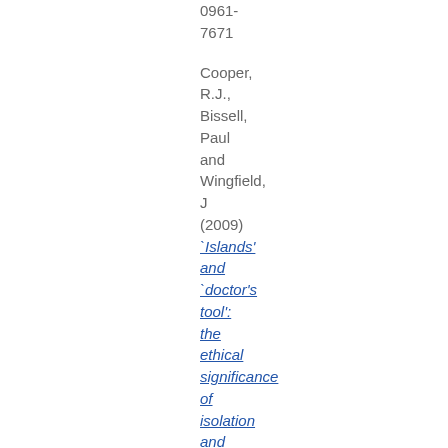0961-7671
Cooper, R.J., Bissell, Paul and Wingfield, J (2009) `Islands' and `doctor's tool': the ethical significance of isolation and subordination